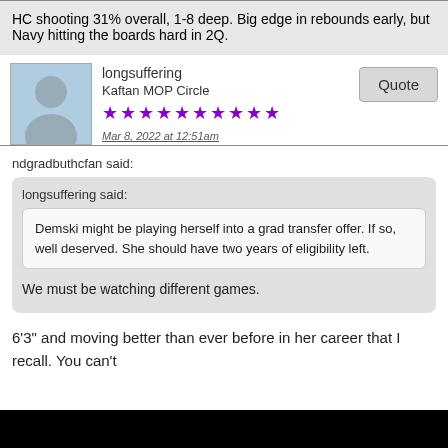HC shooting 31% overall, 1-8 deep. Big edge in rebounds early, but Navy hitting the boards hard in 2Q.
longsuffering
Kaftan MOP Circle
★★★★★★★★★★
Mar 8, 2022 at 12:51am
ndgradbuthcfan said:

longsuffering said:

Demski might be playing herself into a grad transfer offer. If so, well deserved. She should have two years of eligibility left.

We must be watching different games.
6'3" and moving better than ever before in her career that I recall. You can't